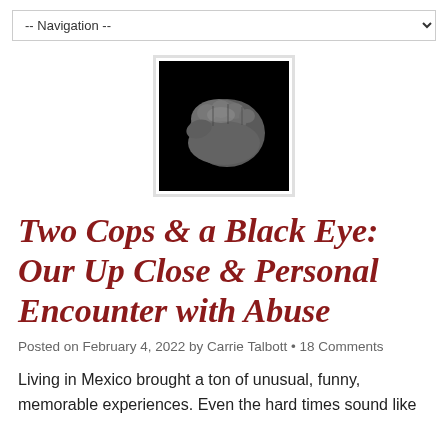-- Navigation --
[Figure (photo): A black and white photograph of a clenched fist against a black background.]
Two Cops & a Black Eye: Our Up Close & Personal Encounter with Abuse
Posted on February 4, 2022 by Carrie Talbott • 18 Comments
Living in Mexico brought a ton of unusual, funny, memorable experiences. Even the hard times sound like